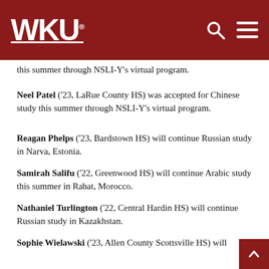WKU
this summer through NSLI-Y's virtual program.
Neel Patel ('23, LaRue County HS) was accepted for Chinese study this summer through NSLI-Y's virtual program.
Reagan Phelps ('23, Bardstown HS) will continue Russian study in Narva, Estonia.
Samirah Salifu ('22, Greenwood HS) will continue Arabic study this summer in Rabat, Morocco.
Nathaniel Turlington ('22, Central Hardin HS) will continue Russian study in Kazakhstan.
Sophie Wielawski ('23, Allen County Scottsville HS) will continue Russian study in Bishkek, Kyrgyzstan.
About The Gatton Academy: Established in 2007, The Gatton Academy is Kentucky's first residential two-year program for gifted and talented juniors and seniors. The Gatton Academy's students enroll as juniors and are full-time WKU